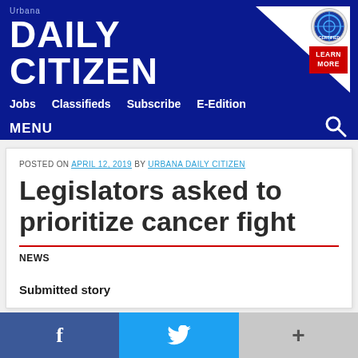Urbana DAILY CITIZEN
Jobs   Classifieds   Subscribe   E-Edition
MENU
POSTED ON APRIL 12, 2019 BY URBANA DAILY CITIZEN
Legislators asked to prioritize cancer fight
NEWS
Submitted story